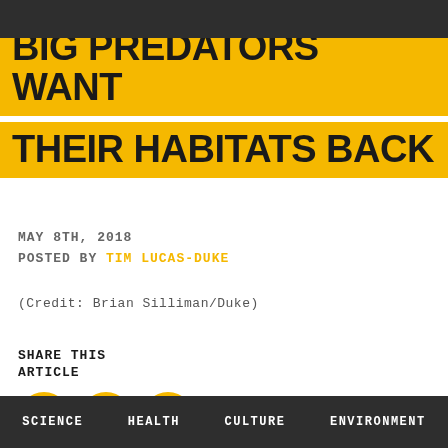BIG PREDATORS WANT THEIR HABITATS BACK
MAY 8TH, 2018
POSTED BY TIM LUCAS-DUKE
(Credit: Brian Silliman/Duke)
SHARE THIS ARTICLE
[Figure (infographic): Social share icons: Facebook (circle with f logo), Twitter (circle with bird logo), Email (circle with envelope logo), all in gold/yellow color]
SCIENCE   HEALTH   CULTURE   ENVIRONMENT